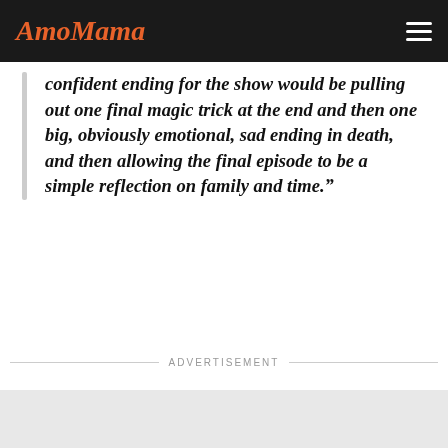AmoMama
confident ending for the show would be pulling out one final magic trick at the end and then one big, obviously emotional, sad ending in death, and then allowing the final episode to be a simple reflection on family and time.”
In the finale, there were touching exchanges between Uncle Nicky and Kevin Pearson and Toby and his ex-wife Kate Pearson among other plotlines and relationships.
ADVERTISEMENT